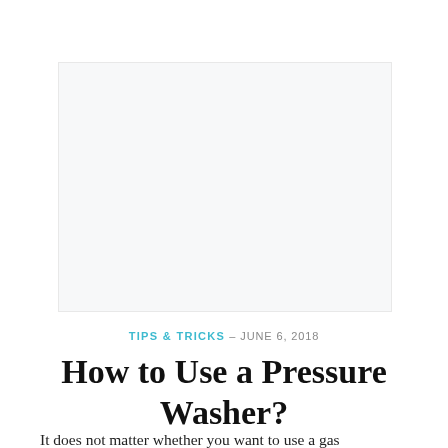[Figure (other): Advertisement or placeholder image box with light gray background]
TIPS & TRICKS – JUNE 6, 2018
How to Use a Pressure Washer?
It does not matter whether you want to use a gas